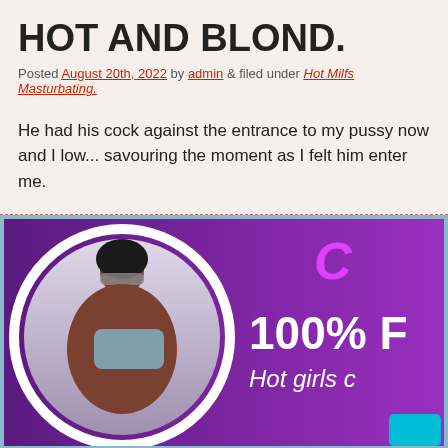HOT AND BLOND.
Posted August 20th, 2022 by admin & filed under Hot Milfs Masturbating..
He had his cock against the entrance to my pussy now and I low... savouring the moment as I felt him enter me.
[Figure (photo): Adult advertisement banner with purple background showing a woman with sunglasses and text '100% F...' and 'Hot girls c...']